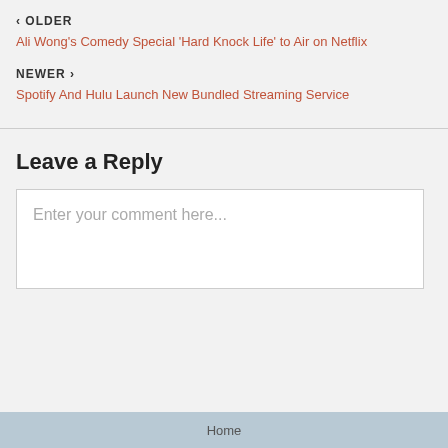‹ OLDER
Ali Wong's Comedy Special 'Hard Knock Life' to Air on Netflix
NEWER ›
Spotify And Hulu Launch New Bundled Streaming Service
Leave a Reply
Enter your comment here...
Home